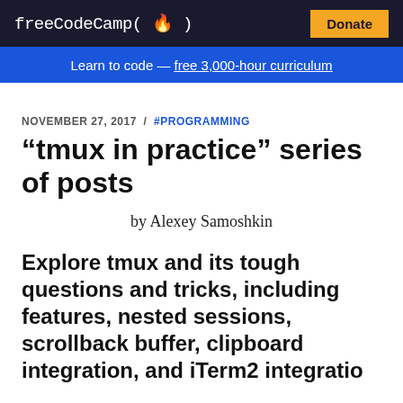freeCodeCamp (🔥)  Donate
Learn to code — free 3,000-hour curriculum
NOVEMBER 27, 2017 / #PROGRAMMING
“tmux in practice” series of posts
by Alexey Samoshkin
Explore tmux and its tough questions and tricks, including features, nested sessions, scrollback buffer, clipboard integration, and iTerm2 integration